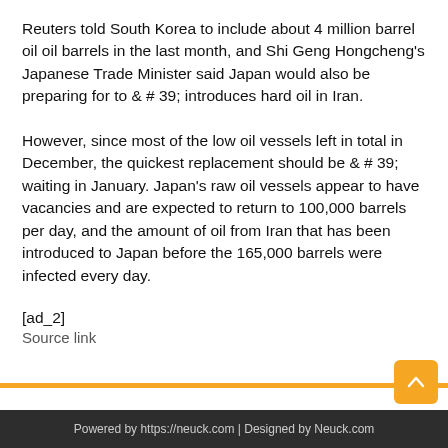Reuters told South Korea to include about 4 million barrel oil oil barrels in the last month, and Shi Geng Hongcheng's Japanese Trade Minister said Japan would also be preparing for to & # 39; introduces hard oil in Iran.
However, since most of the low oil vessels left in total in December, the quickest replacement should be & # 39; waiting in January. Japan's raw oil vessels appear to have vacancies and are expected to return to 100,000 barrels per day, and the amount of oil from Iran that has been introduced to Japan before the 165,000 barrels were infected every day.
[ad_2]
Source link
Powered by https://neuck.com | Designed by Neuck.com